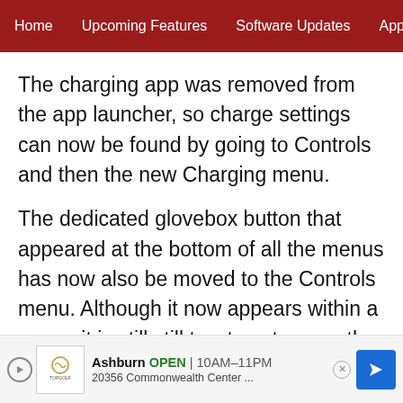Home | Upcoming Features | Software Updates | App Update
The charging app was removed from the app launcher, so charge settings can now be found by going to Controls and then the new Charging menu.
The dedicated glovebox button that appeared at the bottom of all the menus has now also be moved to the Controls menu. Although it now appears within a menu, it is still still two taps to open the glovebox.
[Figure (other): Advertisement banner for TopGolf Ashburn showing OPEN 10AM-11PM and address 20356 Commonwealth Center with navigation arrow]